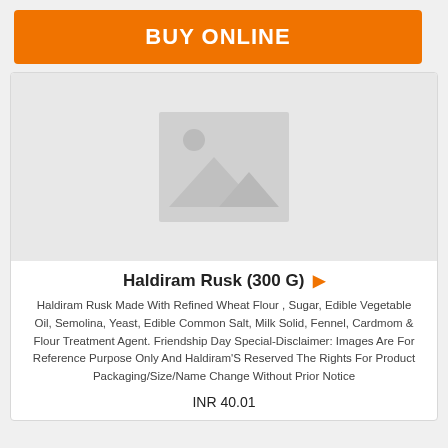BUY ONLINE
[Figure (photo): Placeholder image with mountain/landscape icon on light gray background]
Haldiram Rusk (300 G) ▶
Haldiram Rusk Made With Refined Wheat Flour , Sugar, Edible Vegetable Oil, Semolina, Yeast, Edible Common Salt, Milk Solid, Fennel, Cardmom & Flour Treatment Agent. Friendship Day Special-Disclaimer: Images Are For Reference Purpose Only And Haldiram'S Reserved The Rights For Product Packaging/Size/Name Change Without Prior Notice
INR 40.01